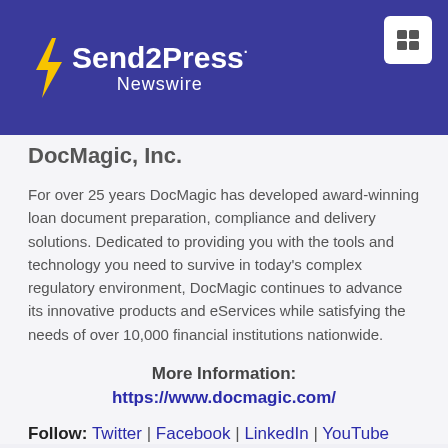Send2Press Newswire
DocMagic, Inc.
For over 25 years DocMagic has developed award-winning loan document preparation, compliance and delivery solutions. Dedicated to providing you with the tools and technology you need to survive in today's complex regulatory environment, DocMagic continues to advance its innovative products and eServices while satisfying the needs of over 10,000 financial institutions nationwide.
More Information:
https://www.docmagic.com/
Follow: Twitter | Facebook | LinkedIn | YouTube